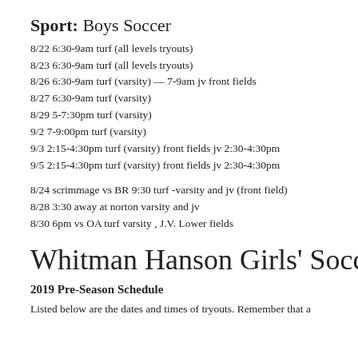Sport: Boys Soccer
8/22 6:30-9am turf (all levels tryouts)
8/23 6:30-9am turf (all levels tryouts)
8/26 6:30-9am turf (varsity) — 7-9am jv front fields
8/27 6:30-9am turf (varsity)
8/29 5-7:30pm turf (varsity)
9/2 7-9:00pm turf (varsity)
9/3 2:15-4:30pm turf (varsity) front fields jv 2:30-4:30pm
9/5 2:15-4:30pm turf (varsity) front fields jv 2:30-4:30pm
8/24 scrimmage vs BR 9:30 turf -varsity and jv (front field)
8/28 3:30 away at norton varsity and jv
8/30 6pm vs OA turf varsity , J.V. Lower fields
Whitman Hanson Girls' Soccer
2019 Pre-Season Schedule
Listed below are the dates and times of tryouts. Remember that a